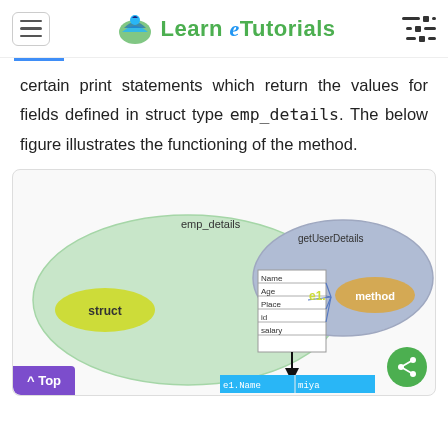Learn e Tutorials
certain print statements which return the values for fields defined in struct type emp_details. The below figure illustrates the functioning of the method.
[Figure (schematic): Diagram showing the relationship between emp_details struct (containing fields Name, Age, Place, id, salary) and getUserDetails method, connected by arrows from the struct fields to 'e1.' and 'method' labels. Below, an arrow points down to a cyan box showing 'e1.Name  miya'.]